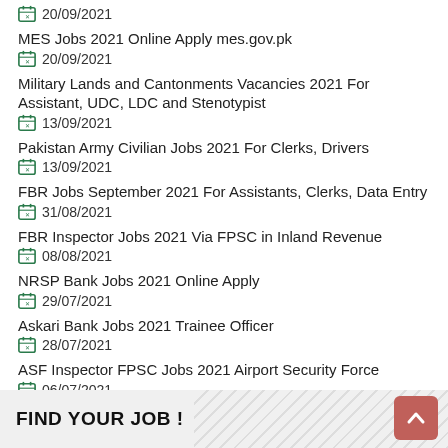20/09/2021
MES Jobs 2021 Online Apply mes.gov.pk
20/09/2021
Military Lands and Cantonments Vacancies 2021 For Assistant, UDC, LDC and Stenotypist
13/09/2021
Pakistan Army Civilian Jobs 2021 For Clerks, Drivers
13/09/2021
FBR Jobs September 2021 For Assistants, Clerks, Data Entry
31/08/2021
FBR Inspector Jobs 2021 Via FPSC in Inland Revenue
08/08/2021
NRSP Bank Jobs 2021 Online Apply
29/07/2021
Askari Bank Jobs 2021 Trainee Officer
28/07/2021
ASF Inspector FPSC Jobs 2021 Airport Security Force
06/07/2021
FIND YOUR JOB !